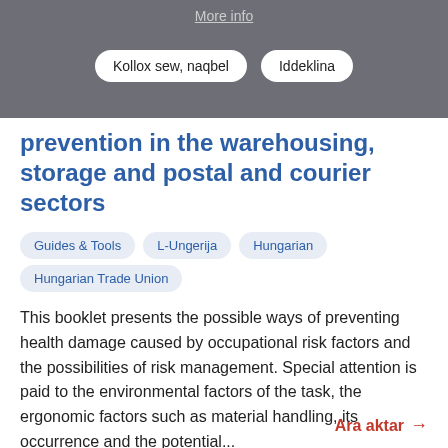More info
Kollox sew, naqbel   Iddeklina
prevention in the warehousing, storage and postal and courier sectors
Guides & Tools
L-Ungerija
Hungarian
Hungarian Trade Union
This booklet presents the possible ways of preventing health damage caused by occupational risk factors and the possibilities of risk management. Special attention is paid to the environmental factors of the task, the ergonomic factors such as material handling, its occurrence and the potential...
Ara aktar →